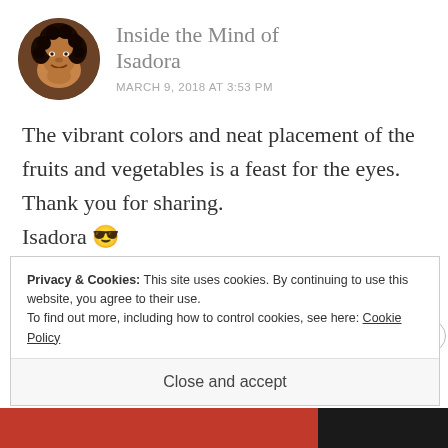[Figure (photo): Circular avatar photo of a woman with curly dark hair, smiling, dark complexion]
Inside the Mind of Isadora
MARCH 9, 2018 AT 3:53 PM
The vibrant colors and neat placement of the fruits and vegetables is a feast for the eyes. Thank you for sharing.
Isadora 😎
Privacy & Cookies: This site uses cookies. By continuing to use this website, you agree to their use.
To find out more, including how to control cookies, see here: Cookie Policy
Close and accept